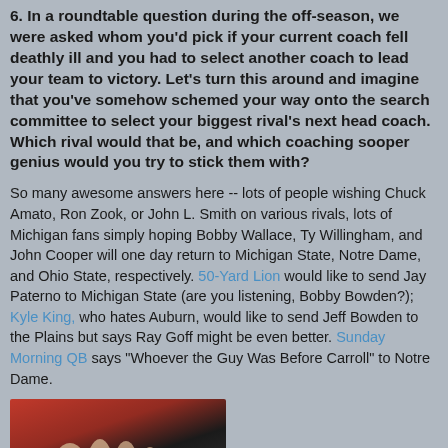6. In a roundtable question during the off-season, we were asked whom you'd pick if your current coach fell deathly ill and you had to select another coach to lead your team to victory. Let's turn this around and imagine that you've somehow schemed your way onto the search committee to select your biggest rival's next head coach. Which rival would that be, and which coaching sooper genius would you try to stick them with?
So many awesome answers here -- lots of people wishing Chuck Amato, Ron Zook, or John L. Smith on various rivals, lots of Michigan fans simply hoping Bobby Wallace, Ty Willingham, and John Cooper will one day return to Michigan State, Notre Dame, and Ohio State, respectively. 50-Yard Lion would like to send Jay Paterno to Michigan State (are you listening, Bobby Bowden?); Kyle King, who hates Auburn, would like to send Jeff Bowden to the Plains but says Ray Goff might be even better. Sunday Morning QB says "Whoever the Guy Was Before Carroll" to Notre Dame.
[Figure (photo): Partial image showing hands at the bottom of the page, cropped]